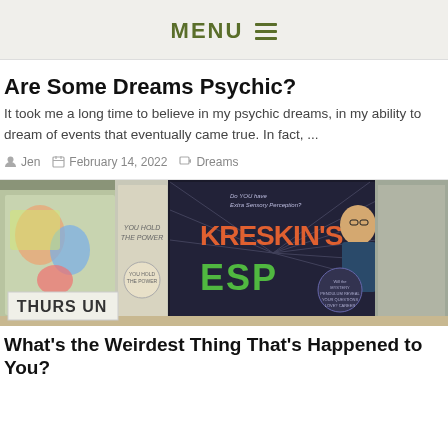MENU ☰
Are Some Dreams Psychic?
It took me a long time to believe in my psychic dreams, in my ability to dream of events that eventually came true. In fact, ...
Jen  February 14, 2022  Dreams
[Figure (photo): Photo of board games on a shelf including Kreskin's ESP game and other vintage games. A sign reading THURSUN is visible at the bottom left.]
What's the Weirdest Thing That's Happened to You?